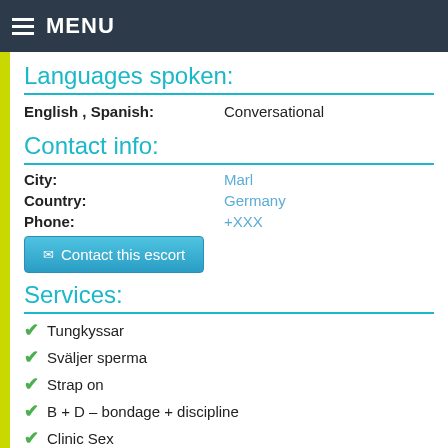MENU
Languages spoken:
English , Spanish:    Conversational
Contact info:
City:    Marl
Country:    Germany
Phone:    +XXX
Contact this escort
Services:
Tungkyssar
Sväljer sperma
Strap on
B + D – bondage + discipline
Clinic Sex